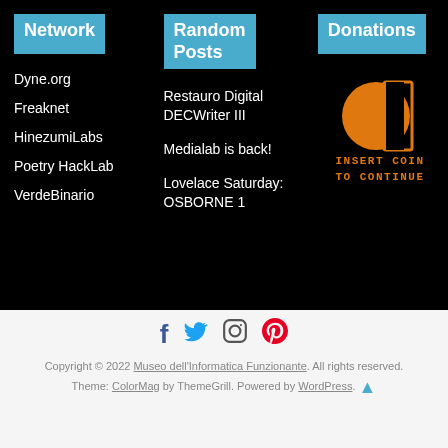Network
Dyne.org
Freaknet
HinezumiLabs
Poetry HackLab
VerdeBinario
Random Posts
Restauro Digital DECWriter III
Medialab is back!
Lovelace Saturday: OSBORNE 1
Donations
[Figure (logo): Orange coin/circle logo with INSERT COIN TO CONTINUE text in orange monospace font on black background]
Copyright © 2022 Museo dell'Informatica Funzionante. All rights reserved. Theme: ColorMag by ThemeGrill. Powered by WordPress.